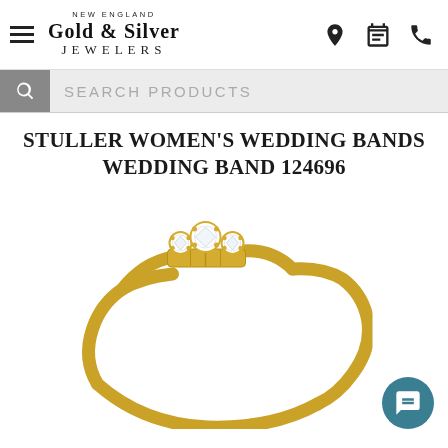New England Gold & Silver Jewelers
SEARCH PRODUCTS
STULLER WOMEN'S WEDDING BANDS WEDDING BAND 124696
[Figure (photo): A yellow gold women's wedding band with three round diamonds set in prongs across the top center of the band, shown on a white background.]